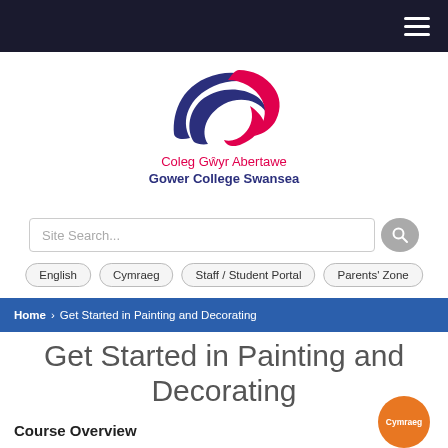Navigation bar with hamburger menu
[Figure (logo): Gower College Swansea logo — stylized blue and pink swoosh shapes forming a C/G symbol]
Coleg Gŵyr Abertawe
Gower College Swansea
Site Search...
English  Cymraeg  Staff / Student Portal  Parents' Zone
Home › Get Started in Painting and Decorating
Get Started in Painting and Decorating
Course Overview